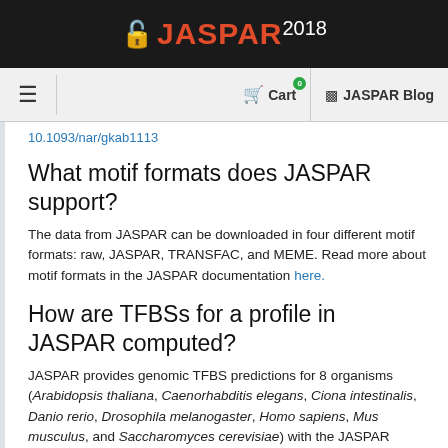JASPAR 2018
10.1093/nar/gkab1113
What motif formats does JASPAR support?
The data from JASPAR can be downloaded in four different motif formats: raw, JASPAR, TRANSFAC, and MEME. Read more about motif formats in the JASPAR documentation here.
How are TFBSs for a profile in JASPAR computed?
JASPAR provides genomic TFBS predictions for 8 organisms (Arabidopsis thaliana, Caenorhabditis elegans, Ciona intestinalis, Danio rerio, Drosophila melanogaster, Homo sapiens, Mus musculus, and Saccharomyces cerevisiae) with the JASPAR CORE PFMs associated with the same taxon.